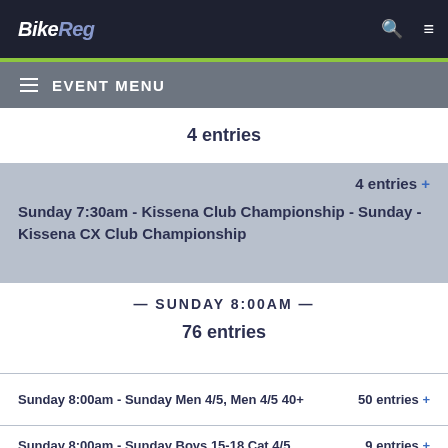BikeReg
EVENT MENU
4 entries
Sunday 7:30am - Kissena Club Championship - Sunday - Kissena CX Club Championship   4 entries +
— SUNDAY 8:00AM —
76 entries
Sunday 8:00am - Sunday Men 4/5, Men 4/5 40+   50 entries +
Sunday 8:00am - Sunday Boys 15-18 Cat 4/5   9 entries +